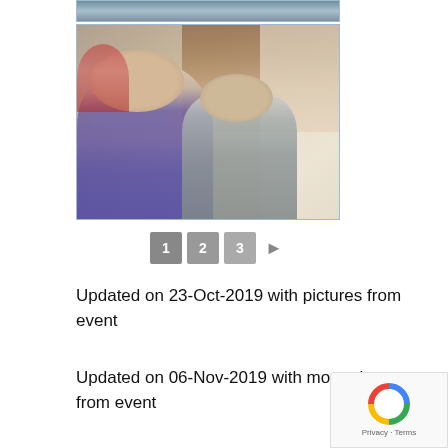[Figure (photo): Top cropped portion of a photo showing people in a cafe or restaurant setting]
[Figure (photo): Two elderly men sitting in a cafe or restaurant. The man in the foreground wears a plaid shirt and glasses, the man behind wears a grey sweater. Background shows a cafe interior.]
1 2 3 ►
Updated on 23-Oct-2019 with pictures from event
Updated on 06-Nov-2019 with more pictures from event